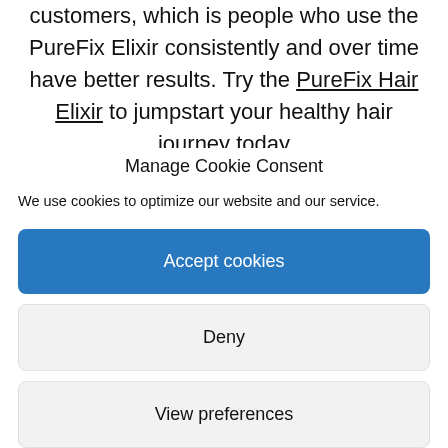customers, which is people who use the PureFix Elixir consistently and over time have better results. Try the PureFix Hair Elixir to jumpstart your healthy hair journey today
Manage Cookie Consent
We use cookies to optimize our website and our service.
Accept cookies
Deny
View preferences